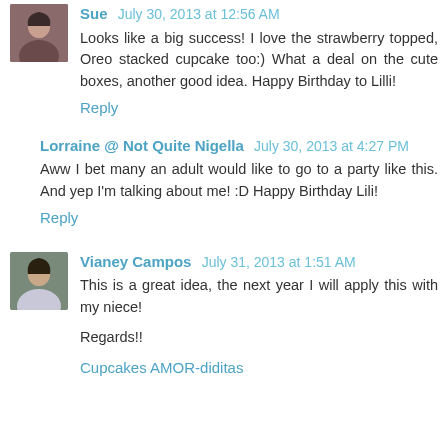Sue July 30, 2013 at 12:56 AM
Looks like a big success! I love the strawberry topped, Oreo stacked cupcake too:) What a deal on the cute boxes, another good idea. Happy Birthday to Lilli!
Reply
Lorraine @ Not Quite Nigella July 30, 2013 at 4:27 PM
Aww I bet many an adult would like to go to a party like this. And yep I'm talking about me! :D Happy Birthday Lili!
Reply
Vianey Campos July 31, 2013 at 1:51 AM
This is a great idea, the next year I will apply this with my niece!

Regards!!
Cupcakes AMOR-diditas